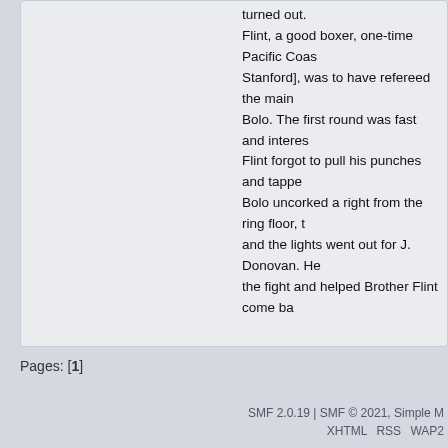turned out. Flint, a good boxer, one-time Pacific Coast [Stanford], was to have refereed the main Bolo. The first round was fast and interesting. Flint forgot to pull his punches and tapped Bolo uncorked a right from the ring floor, and the lights went out for J. Donovan. He the fight and helped Brother Flint come ba
Pages: [1]
Dog Brothers Public Forum » DBMA Martial Arts Forum » Martial Arts Topics » DBMA DV
SMF 2.0.19 | SMF © 2021, Simple M   XHTML   RSS   WAP2